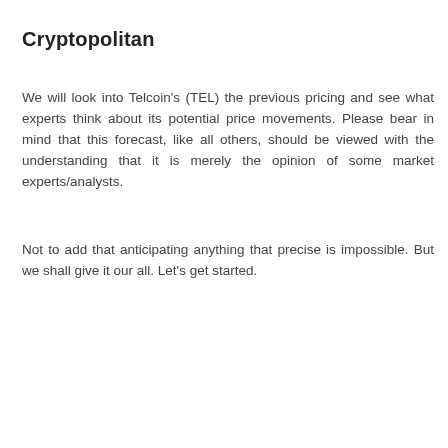Cryptopolitan
We will look into Telcoin's (TEL) the previous pricing and see what experts think about its potential price movements. Please bear in mind that this forecast, like all others, should be viewed with the understanding that it is merely the opinion of some market experts/analysts.
Not to add that anticipating anything that precise is impossible. But we shall give it our all. Let’s get started.